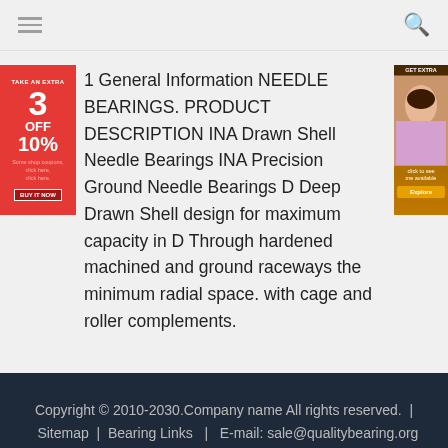1 General Information NEEDLE BEARINGS. PRODUCT DESCRIPTION INA Drawn Shell Needle Bearings INA Precision Ground Needle Bearings D Deep Drawn Shell design for maximum capacity in D Through hardened machined and ground raceways the minimum radial space. with cage and roller complements.
[Figure (illustration): Left sidebar advertisement: red banner with '3 OFF 10%' promotional text]
[Figure (illustration): Right sidebar advertisement: brown/orange banner with a woman's face photo]
Copyright © 2010-2030.Company name All rights reserved.  |  Sitemap  |  Bearing Links  |  E-mail: sale@qualitybearing.org